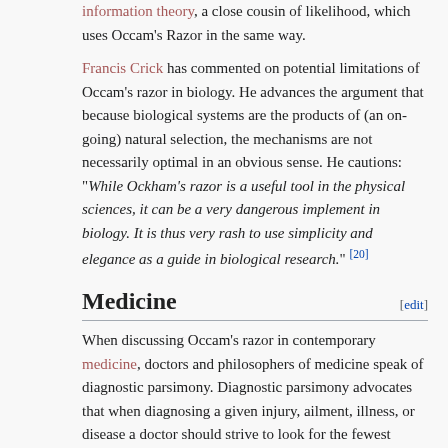information theory, a close cousin of likelihood, which uses Occam's Razor in the same way.
Francis Crick has commented on potential limitations of Occam's razor in biology. He advances the argument that because biological systems are the products of (an on-going) natural selection, the mechanisms are not necessarily optimal in an obvious sense. He cautions: "While Ockham's razor is a useful tool in the physical sciences, it can be a very dangerous implement in biology. It is thus very rash to use simplicity and elegance as a guide in biological research." [20]
Medicine
When discussing Occam's razor in contemporary medicine, doctors and philosophers of medicine speak of diagnostic parsimony. Diagnostic parsimony advocates that when diagnosing a given injury, ailment, illness, or disease a doctor should strive to look for the fewest possible causes that will account for all the symptoms. While diagnostic